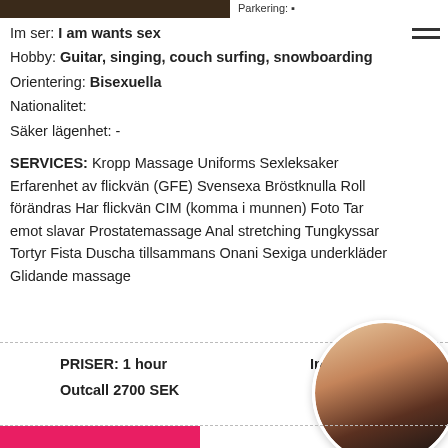[Figure (photo): Top portion of a photo of a person, dark toned background]
Parkering: ▪
Im ser: I am wants sex
Hobby: Guitar, singing, couch surfing, snowboarding
Orientering: Bisexuella
Nationalitet:
Säker lägenhet: -
SERVICES: Kropp Massage Uniforms Sexleksaker Erfarenhet av flickvän (GFE) Svensexa Bröstknulla Roll förändras Har flickvän CIM (komma i munnen) Foto Tar emot slavar Prostatemassage Anal stretching Tungkyssar Tortyr Fista Duscha tillsammans Onani Sexiga underkläder Glidande massage
PRISER: 1 hour    Incall 2200 SEK
Outcall 2700 SEK
[Figure (photo): Circular cropped photo of a blonde woman in dark clothing]